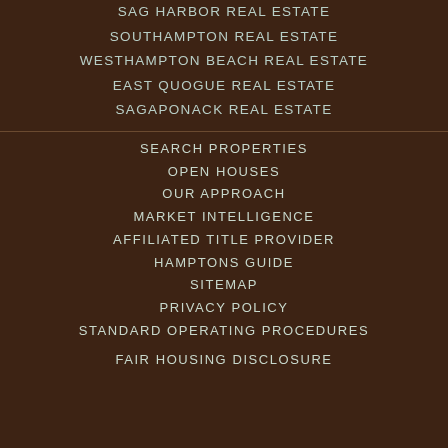SAG HARBOR REAL ESTATE
SOUTHAMPTON REAL ESTATE
WESTHAMPTON BEACH REAL ESTATE
EAST QUOGUE REAL ESTATE
SAGAPONACK REAL ESTATE
SEARCH PROPERTIES
OPEN HOUSES
OUR APPROACH
MARKET INTELLIGENCE
AFFILIATED TITLE PROVIDER
HAMPTONS GUIDE
SITEMAP
PRIVACY POLICY
STANDARD OPERATING PROCEDURES
FAIR HOUSING DISCLOSURE